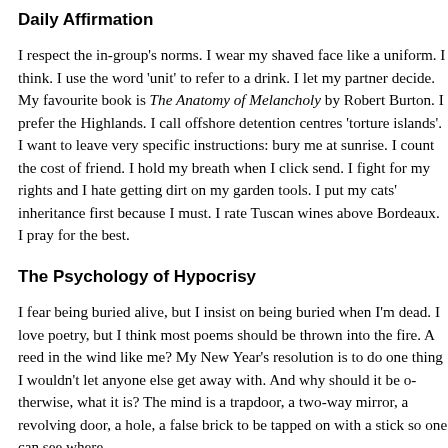Daily Affirmation
I respect the in-group's norms. I wear my shaved face like a uni think. I use the word 'unit' to refer to a drink. I let my partner d favourite book is The Anatomy of Melancholy by Robert Burton. I p Highlands. I call offshore detention centres 'torture islands'. I w leave very specific instructions: bury me at sunrise. I count the friend. I hold my breath when I click send. I fight for my rights hate getting dirt on my garden tools. I put my cats' inheritance because I must. I rate Tuscan wines above Bordeaux. I pray for t
The Psychology of Hypocrisy
I fear being buried alive, but I insist on being buried when I'm d love poetry, but I think most poems should be thrown into the reed in the wind like me? My New Year's resolution is to do one wouldn't let anyone else get away with. And why should it be o what it is? The mind is a trapdoor, a two-way mirror, a revolving hole, a false brick to be tapped on with a stick so one can see w